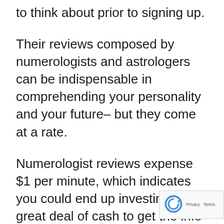to think about prior to signing up.
Their reviews composed by numerologists and astrologers can be indispensable in comprehending your personality and your future– but they come at a rate.
Numerologist reviews expense $1 per minute, which indicates you could end up investing a great deal of cash to get the info you require.
In addition, numerologist reviews may not be as qualitative as you believe they are: numerous evaluations accusing numerologists of offering unclear actions concerns about the future or using the same generic findings for every single single